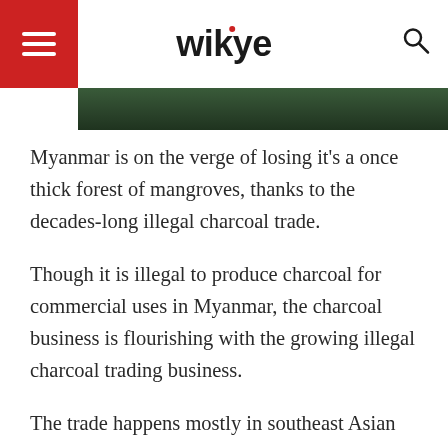wikye
[Figure (photo): Dark green forest/mangrove image strip at top of article]
Myanmar is on the verge of losing it's a once thick forest of mangroves, thanks to the decades-long illegal charcoal trade.
Though it is illegal to produce charcoal for commercial uses in Myanmar, the charcoal business is flourishing with the growing illegal charcoal trading business.
The trade happens mostly in southeast Asian countries like China, Japan, South